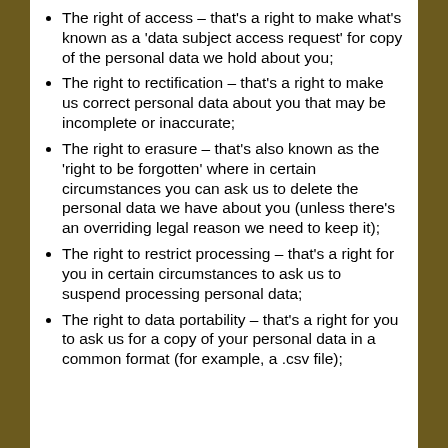The right of access – that's a right to make what's known as a 'data subject access request' for copy of the personal data we hold about you;
The right to rectification – that's a right to make us correct personal data about you that may be incomplete or inaccurate;
The right to erasure – that's also known as the 'right to be forgotten' where in certain circumstances you can ask us to delete the personal data we have about you (unless there's an overriding legal reason we need to keep it);
The right to restrict processing – that's a right for you in certain circumstances to ask us to suspend processing personal data;
The right to data portability – that's a right for you to ask us for a copy of your personal data in a common format (for example, a .csv file);